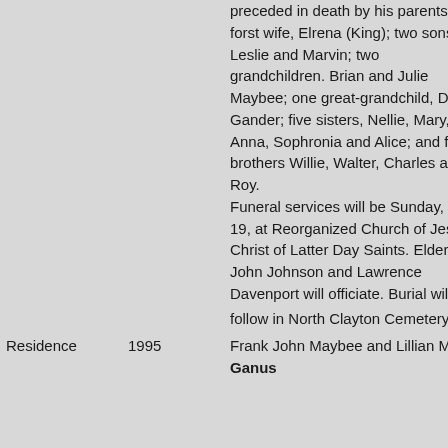| Type | Year | Details |
| --- | --- | --- |
|  |  | preceded in death by his parents; his forst wife, Elrena (King); two sons Leslie and Marvin; two grandchildren. Brian and Julie Maybee; one great-grandchild, Dale Gander; five sisters, Nellie, Mary, Anna, Sophronia and Alice; and four brothers Willie, Walter, Charles and Roy.
Funeral services will be Sunday, Dec 19, at Reorganized Church of Jesus Christ of Latter Day Saints. Elders John Johnson and Lawrence Davenport will officiate. Burial will follow in North Clayton Cemetery.[10] |
| Residence | 1995 | Frank John Maybee and Lillian Marie Ganus |